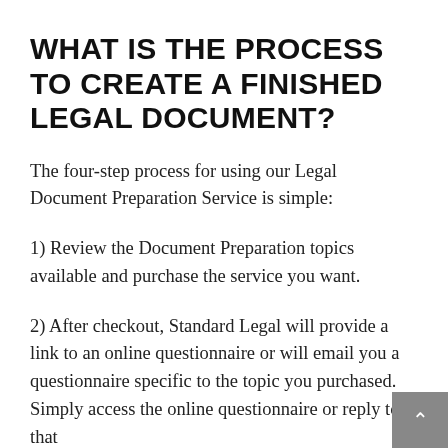WHAT IS THE PROCESS TO CREATE A FINISHED LEGAL DOCUMENT?
The four-step process for using our Legal Document Preparation Service is simple:
1) Review the Document Preparation topics available and purchase the service you want.
2) After checkout, Standard Legal will provide a link to an online questionnaire or will email you a questionnaire specific to the topic you purchased. Simply access the online questionnaire or reply to that